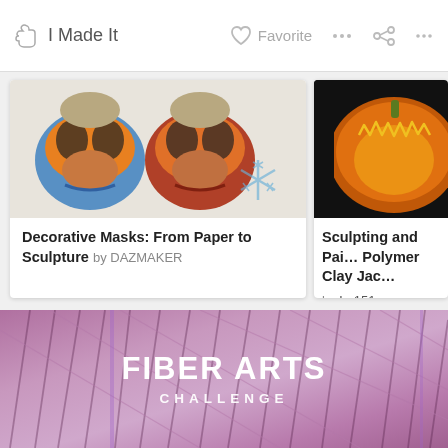I Made It | Favorite
[Figure (photo): Two decorative animal masks (bird/owl style) with blue, orange, and red painted patterns on white background, with a blue spiky watermark graphic in lower right]
Decorative Masks: From Paper to Sculpture by DAZMAKER
[Figure (photo): Close-up of a carved glowing jack-o-lantern pumpkin on dark background with jagged teeth and yellow glow]
Sculpting and Painting a Polymer Clay Jack by Lp151
[Figure (photo): Fiber Arts Challenge banner with purple/pink fiber texture background]
FIBER ARTS
CHALLENGE